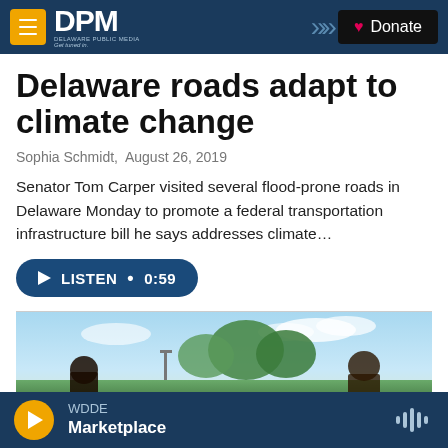DPM Delaware Public Media — Donate
Delaware roads adapt to climate change
Sophia Schmidt,  August 26, 2019
Senator Tom Carper visited several flood-prone roads in Delaware Monday to promote a federal transportation infrastructure bill he says addresses climate…
LISTEN • 0:59
[Figure (photo): Outdoor photo showing two people and trees against a sky background, related to the Delaware roads and climate change story]
WDDE  Marketplace